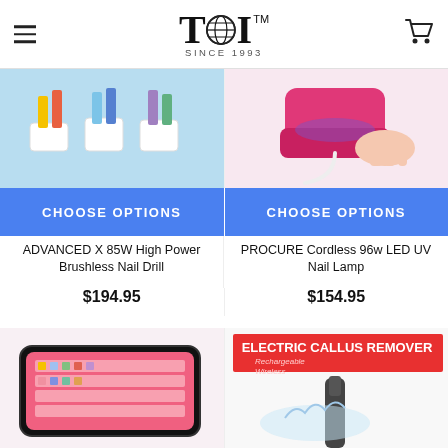TDI™ SINCE 1993
[Figure (photo): Product photo of nail drill bits/polishes in holders on blue background]
[Figure (photo): Product photo of pink cordless UV nail lamp in use]
CHOOSE OPTIONS
CHOOSE OPTIONS
ADVANCED X 85W High Power Brushless Nail Drill
PROCURE Cordless 96w LED UV Nail Lamp
$194.95
$154.95
[Figure (photo): Pink nail drill bit case open showing organized bits and tools]
[Figure (photo): Electric Callus Remover product packaging with water splash image]